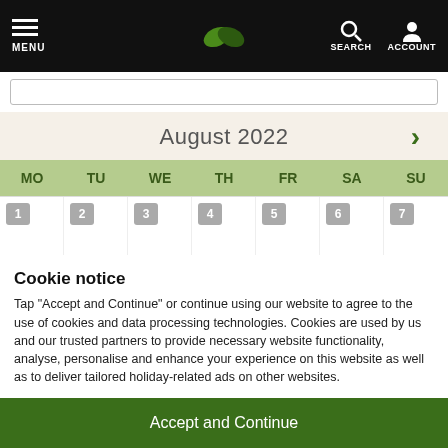MENU | [logo] | SEARCH ACCOUNT
[Figure (screenshot): Calendar widget showing August 2022 with days 1-14 visible across two weeks (Mon-Sun). Days shown in greyed-out date boxes. Day header row: MO, TU, WE, TH, FR, SA, SU on green background.]
Cookie notice
Tap "Accept and Continue" or continue using our website to agree to the use of cookies and data processing technologies. Cookies are used by us and our trusted partners to provide necessary website functionality, analyse, personalise and enhance your experience on this website as well as to deliver tailored holiday-related ads on other websites.
Accept and Continue